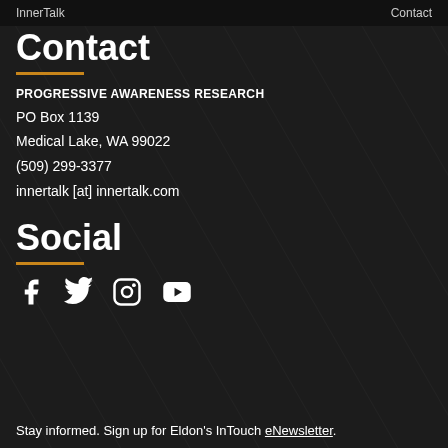InnerTalk    Contact
Contact
PROGRESSIVE AWARENESS RESEARCH
PO Box 1139
Medical Lake, WA 99022
(509) 299-3377
innertalk [at] innertalk.com
Social
[Figure (other): Social media icons: Facebook, Twitter, Instagram, YouTube]
Stay informed. Sign up for Eldon's InTouch eNewsletter.